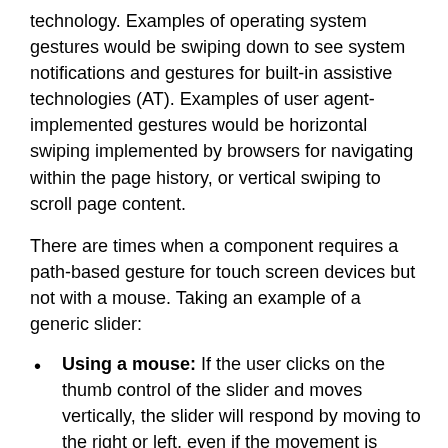technology. Examples of operating system gestures would be swiping down to see system notifications and gestures for built-in assistive technologies (AT). Examples of user agent-implemented gestures would be horizontal swiping implemented by browsers for navigating within the page history, or vertical swiping to scroll page content.
There are times when a component requires a path-based gesture for touch screen devices but not with a mouse. Taking an example of a generic slider:
Using a mouse: If the user clicks on the thumb control of the slider and moves vertically, the slider will respond by moving to the right or left, even if the movement is mostly upwards. There will be no page scrolling as a result of the vertical movement as long as they drag with focus on the slider. Therefore, the slider does